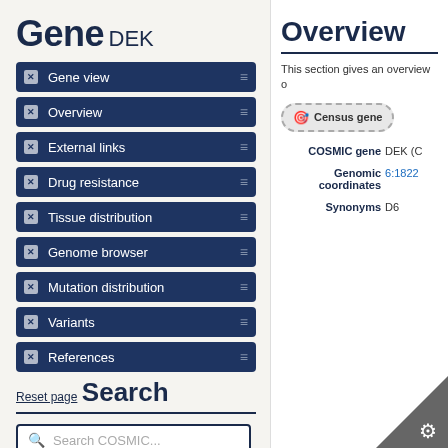Gene
DEK
Gene view
Overview
External links
Drug resistance
Tissue distribution
Genome browser
Mutation distribution
Variants
References
Reset page
Search
Search COSMIC...
Overview
This section gives an overview o
Census gene
| Field | Value |
| --- | --- |
| COSMIC gene | DEK (C |
| Genomic coordinates | 6:1822 |
| Synonyms | D6 |